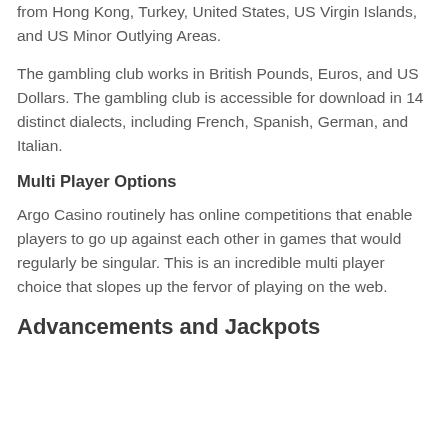from Hong Kong, Turkey, United States, US Virgin Islands, and US Minor Outlying Areas.
The gambling club works in British Pounds, Euros, and US Dollars. The gambling club is accessible for download in 14 distinct dialects, including French, Spanish, German, and Italian.
Multi Player Options
Argo Casino routinely has online competitions that enable players to go up against each other in games that would regularly be singular. This is an incredible multi player choice that slopes up the fervor of playing on the web.
Advancements and Jackpots